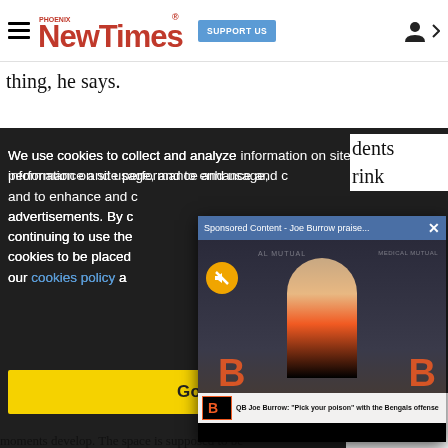Phoenix New Times — SUPPORT US — navigation
thing, he says.
dents rink
We use cookies to collect and analyze information on site performance and usage, and to enhance and customize content and advertisements. By continuing to use the site, you agree to allow cookies to be placed. To find out more, visit our cookies policy and our privacy policy.
[Figure (screenshot): Sponsored Content video popup: Joe Burrow praise... with a muted video showing Joe Burrow at a Bengals press conference. Lower third reads: QB Joe Burrow: "Pick your poison" with the Bengals offense]
Got it!
s, ond
moments develop. The space is supposed to be